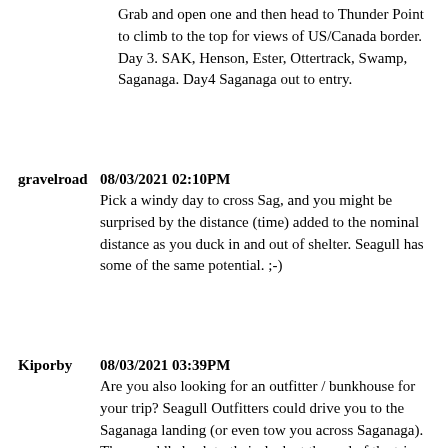Grab and open one and then head to Thunder Point to climb to the top for views of US/Canada border. Day 3. SAK, Henson, Ester, Ottertrack, Swamp, Saganaga. Day4 Saganaga out to entry.
gravelroad  08/03/2021 02:10PM
Pick a windy day to cross Sag, and you might be surprised by the distance (time) added to the nominal distance as you duck in and out of shelter. Seagull has some of the same potential. ;-)
Kiporby  08/03/2021 03:39PM
Are you also looking for an outfitter / bunkhouse for your trip? Seagull Outfitters could drive you to the Saganaga landing (or even tow you across Saganaga). Then, paddle back to their dock at the end of the trip for quick shower.